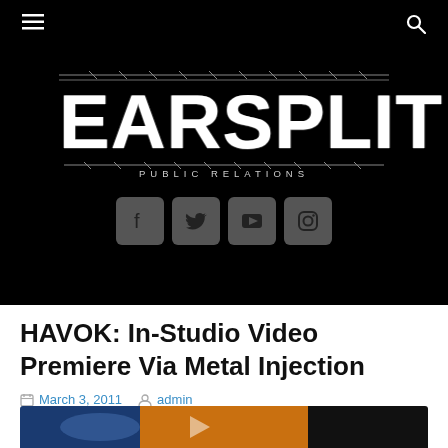☰  🔍
[Figure (logo): Earsplit Public Relations logo — large white distressed/barbed-wire style lettering on black background with social media icons (Facebook, Twitter, YouTube, Instagram) below]
HAVOK: In-Studio Video Premiere Via Metal Injection
March 3, 2011  admin